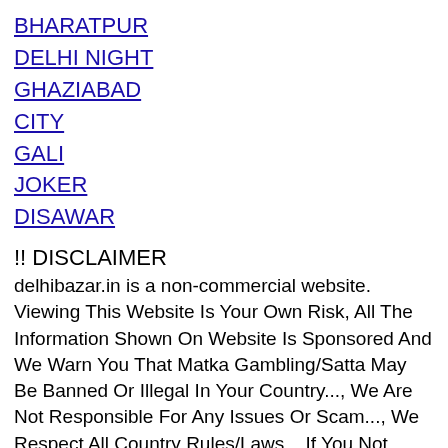BHARATPUR
DELHI NIGHT
GHAZIABAD
CITY
GALI
JOKER
DISAWAR
!! DISCLAIMER
delhibazar.in is a non-commercial website. Viewing This Website Is Your Own Risk, All The Information Shown On Website Is Sponsored And We Warn You That Matka Gambling/Satta May Be Banned Or Illegal In Your Country..., We Are Not Responsible For Any Issues Or Scam..., We Respect All Country Rules/Laws... If You Not Agree With Our Site Disclaimer... Please Quit Our Site Right Now. Thank You.
Privacy | Policy
© (2021-2022) Delhibazar Company Pvt. Ltd. All Rights Reserved.
[Figure (other): Visit counter showing 19000 with a refresh icon below]